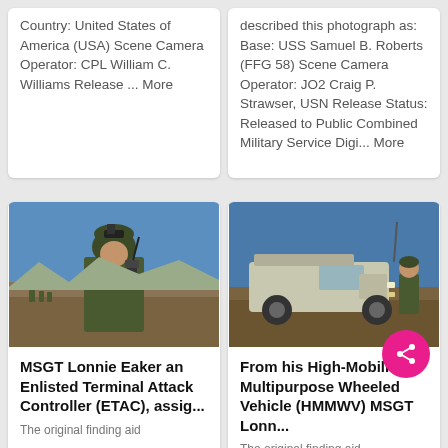Country: United States of America (USA) Scene Camera Operator: CPL William C. Williams Release ... More
described this photograph as: Base: USS Samuel B. Roberts (FFG 58) Scene Camera Operator: JO2 Craig P. Strawser, USN Release Status: Released to Public Combined Military Service Digi... More
[Figure (photo): Soldier in camouflage uniform with helmet and night-vision equipment, holding a radio, with desert terrain and troops in background]
[Figure (photo): HMMWV (High-Mobility Multipurpose Wheeled Vehicle) in desert terrain with a soldier standing beside it]
MSGT Lonnie Eaker an Enlisted Terminal Attack Controller (ETAC), assig...
The original finding aid
From his High-Mobility Multipurpose Wheeled Vehicle (HMMWV) MSGT Lonn...
The original finding aid